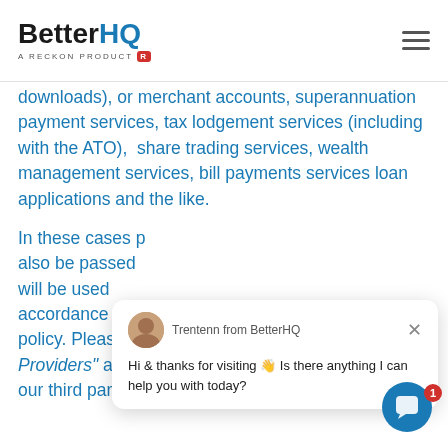BetterHQ — A Reckon Product
downloads), or merchant accounts, superannuation payment services, tax lodgement services (including with the ATO),  share trading services, wealth management services, bill payments services loan applications and the like.
In these cases p... also be passed... will be used... accordance with the third party's respective privacy policy. Please also refer to "Third Party Service Providers" about our use of our third party suppliers and "Disclosure to